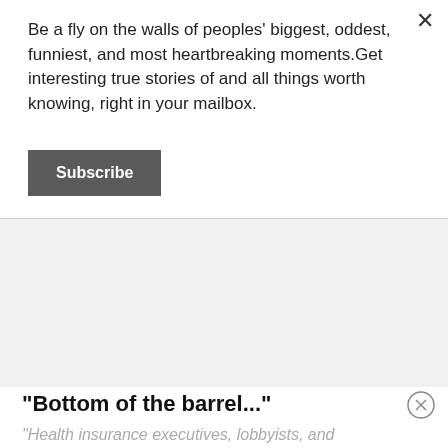Be a fly on the walls of peoples' biggest, oddest, funniest, and most heartbreaking moments.Get interesting true stories of and all things worth knowing, right in your mailbox.
Subscribe
"Bottom of the barrel..."
"Health insurance executives, lobbyists, and